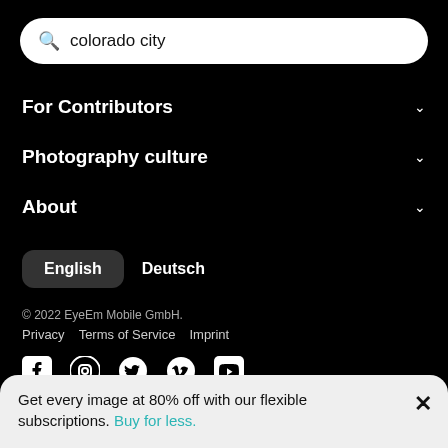colorado city
For Contributors
Photography culture
About
English   Deutsch
© 2022 EyeEm Mobile GmbH.
Privacy   Terms of Service   Imprint
[Figure (other): Social media icons: Facebook, Instagram, Twitter, Vimeo, YouTube]
Get every image at 80% off with our flexible subscriptions. Buy for less.